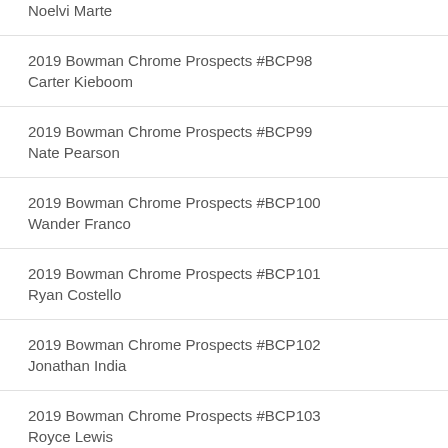Noelvi Marte
2019 Bowman Chrome Prospects #BCP98 Carter Kieboom
2019 Bowman Chrome Prospects #BCP99 Nate Pearson
2019 Bowman Chrome Prospects #BCP100 Wander Franco
2019 Bowman Chrome Prospects #BCP101 Ryan Costello
2019 Bowman Chrome Prospects #BCP102 Jonathan India
2019 Bowman Chrome Prospects #BCP103 Royce Lewis
2019 Bowman Chrome Prospects #BCP104